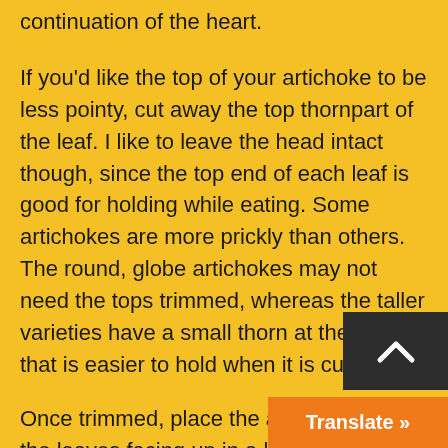continuation of the heart.
If you'd like the top of your artichoke to be less pointy, cut away the top thornpart of the leaf. I like to leave the head intact though, since the top end of each leaf is good for holding while eating. Some artichokes are more prickly than others. The round, globe artichokes may not need the tops trimmed, whereas the taller varieties have a small thorn at the top that is easier to hold when it is cut off.
Once trimmed, place the artichoke with the leaves facing up in a large pot or Dutch oven. Arrange the stems in around the heads, and fill the bottom of the pot with 1 to 2 inches of water. You should have enough water for the artichokes to cook for 45 minutes t